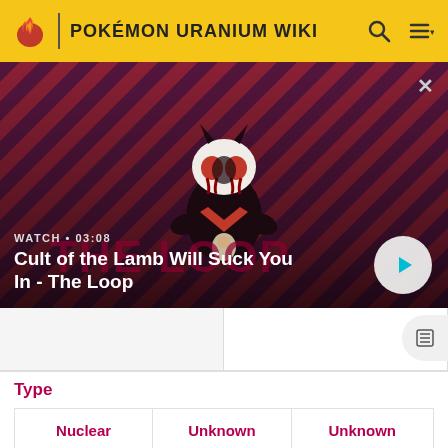POKÉMON URANIUM WIKI
[Figure (screenshot): Video thumbnail showing a dark Pokémon character (lamb/cult of the lamb style) on a red and dark striped background with the text 'WATCH • 03:08' and title 'Cult of the Lamb Will Suck You In - The Loop', with a play button on the right.]
Cult of the Lamb Will Suck You In - The Loop
| Type |  |  |
| --- | --- | --- |
| Nuclear | Unknown | Unknown |